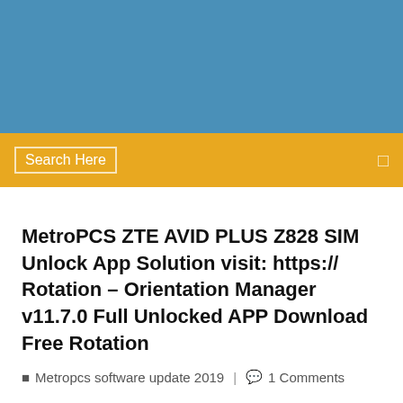[Figure (photo): Blue header/banner area at top of webpage]
Search Here
MetroPCS ZTE AVID PLUS Z828 SIM Unlock App Solution visit: https:// Rotation – Orientation Manager v11.7.0 Full Unlocked APP Download Free Rotation
Metropcs software update 2019  |  1 Comments
15 Dec 2016 You want to unlock your T-Mobile or MetroPCS device with official Unlock app but you get a "NOT ELIGIBLE"